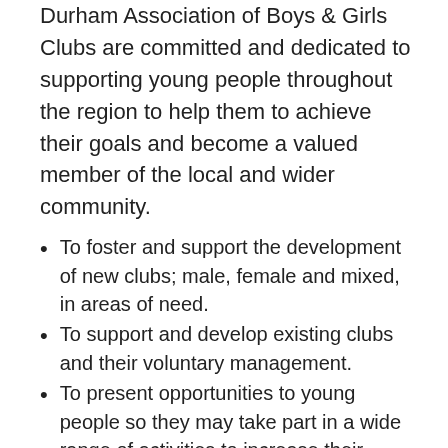Durham Association of Boys & Girls Clubs are committed and dedicated to supporting young people throughout the region to help them to achieve their goals and become a valued member of the local and wider community.
To foster and support the development of new clubs; male, female and mixed, in areas of need.
To support and develop existing clubs and their voluntary management.
To present opportunities to young people so they may take part in a wide range of activities to increase their personal and social development.
To promote and compliment the work of Ambition, NABGC and other partners throughout the Durham Association area.
To act as liaison between our National organisations and other partners with our affiliated